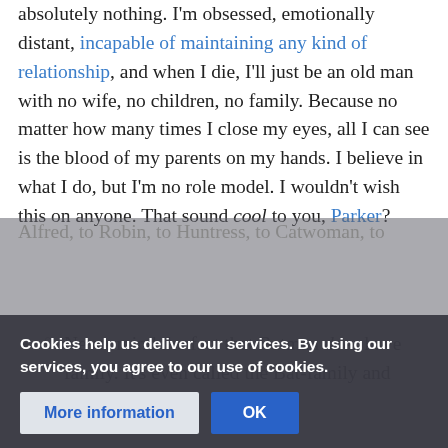absolutely nothing. I'm obsessed, emotionally distant, incapable of maintaining any kind of relationship, and when I die, I'll just be an old man with no wife, no children, no family. Because no matter how many times I close my eyes, all I can see is the blood of my parents on my hands. I believe in what I do, but I'm no role model. I wouldn't wish this on anyone. That sound cool to you, Parker?
Never mind the fact that Batman does have family. It's even called the Bat-family and stretches from Alfred, to Robin, to Huntress, to Catwoman, to ... best kind of family, ...
Cookies help us deliver our services. By using our services, you agree to our use of cookies.